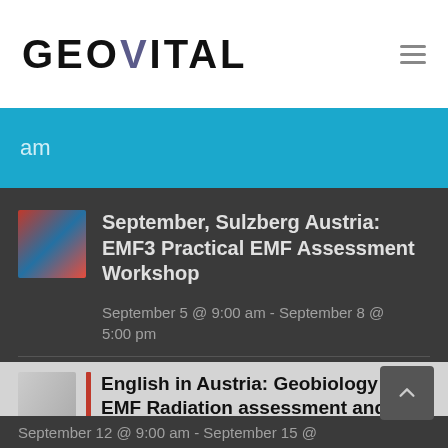GEOVITAL
am
September, Sulzberg Austria: EMF3 Practical EMF Assessment Workshop
September 5 @ 9:00 am - September 8 @ 5:00 pm
English in Austria: Geobiology and EMF Radiation assessment and mitigation workshop
September 12 @ 9:00 am - September 15 @